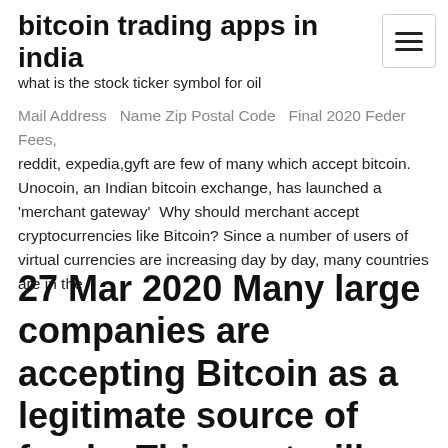bitcoin trading apps in india
what is the stock ticker symbol for oil
Mail Address   Name Zip Postal Code   Final 2020 Feder Fees, reddit, expedia,gyft are few of many which accept bitcoin. Unocoin, an Indian bitcoin exchange, has launched a 'merchant gateway'  Why should merchant accept cryptocurrencies like Bitcoin? Since a number of users of virtual currencies are increasing day by day, many countries are in the
27 Mar 2020 Many large companies are accepting Bitcoin as a legitimate source of funds. This post will cover them all. Who Accepts Bitcoin Summary. A 2020